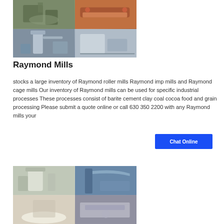[Figure (photo): Four-panel collage of Raymond mill industrial equipment images]
Raymond Mills
stocks a large inventory of Raymond roller mills Raymond imp mills and Raymond cage mills Our inventory of Raymond mills can be used for specific industrial processes These processes consist of barite cement clay coal cocoa food and grain processing Please submit a quote online or call 630 350 2200 with any Raymond mills your
[Figure (other): Chat Online button]
[Figure (photo): Four-panel collage of Raymond mill industrial facility images]